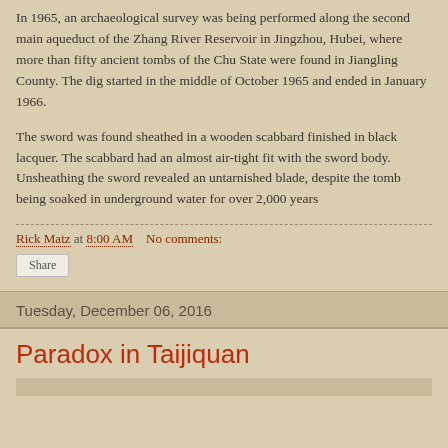In 1965, an archaeological survey was being performed along the second main aqueduct of the Zhang River Reservoir in Jingzhou, Hubei, where more than fifty ancient tombs of the Chu State were found in Jiangling County. The dig started in the middle of October 1965 and ended in January 1966.
The sword was found sheathed in a wooden scabbard finished in black lacquer. The scabbard had an almost air-tight fit with the sword body. Unsheathing the sword revealed an untarnished blade, despite the tomb being soaked in underground water for over 2,000 years
Rick Matz at 8:00 AM    No comments:
Share
Tuesday, December 06, 2016
Paradox in Taijiquan